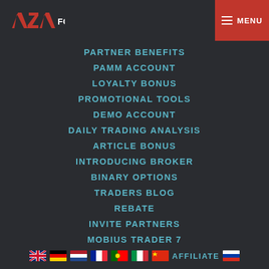AZA FOREX — MENU
PARTNER BENEFITS
PAMM ACCOUNT
LOYALTY BONUS
PROMOTIONAL TOOLS
DEMO ACCOUNT
DAILY TRADING ANALYSIS
ARTICLE BONUS
INTRODUCING BROKER
BINARY OPTIONS
TRADERS BLOG
REBATE
INVITE PARTNERS
MOBIUS TRADER 7
ECONOMIC CALENDAR
AFFILIATE